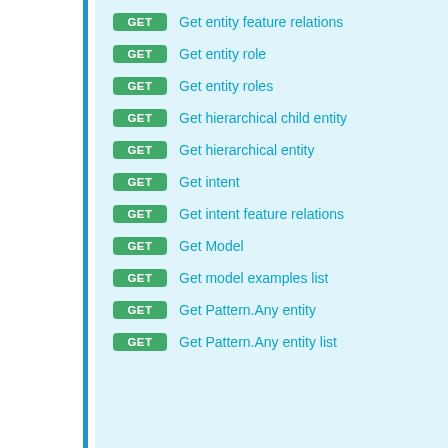GET Get entity feature relations
GET Get entity role
GET Get entity roles
GET Get hierarchical child entity
GET Get hierarchical entity
GET Get intent
GET Get intent feature relations
GET Get Model
GET Get model examples list
GET Get Pattern.Any entity
GET Get Pattern.Any entity list